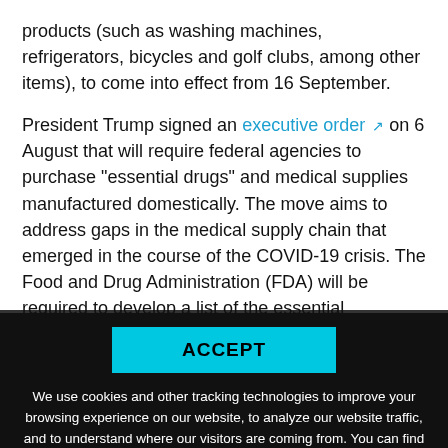products (such as washing machines, refrigerators, bicycles and golf clubs, among other items), to come into effect from 16 September.
President Trump signed an executive order on 6 August that will require federal agencies to purchase "essential drugs" and medical supplies manufactured domestically. The move aims to address gaps in the medical supply chain that emerged in the course of the COVID-19 crisis. The Food and Drug Administration (FDA) will be required to develop a list of the essential
ACCEPT
We use cookies and other tracking technologies to improve your browsing experience on our website, to analyze our website traffic, and to understand where our visitors are coming from. You can find out more information on our Privacy Page.